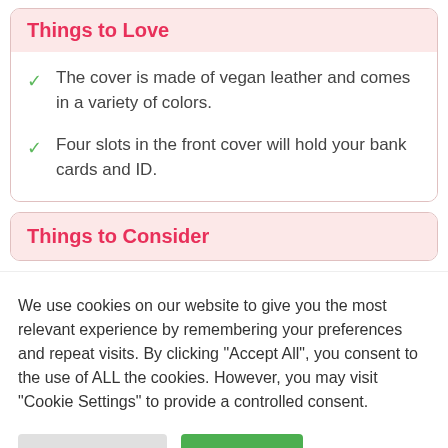Things to Love
The cover is made of vegan leather and comes in a variety of colors.
Four slots in the front cover will hold your bank cards and ID.
Things to Consider
We use cookies on our website to give you the most relevant experience by remembering your preferences and repeat visits. By clicking “Accept All”, you consent to the use of ALL the cookies. However, you may visit "Cookie Settings" to provide a controlled consent.